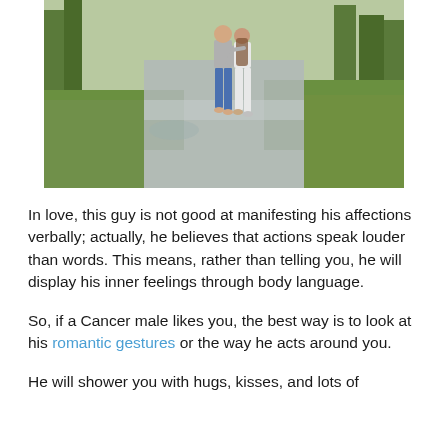[Figure (photo): A couple walking together from behind on a wet path in a park. The person on the left is wearing a gray shirt and blue jeans, and has their arm around the person on the right, who is wearing a white shirt and white pants. Green trees and grass are visible in the background.]
In love, this guy is not good at manifesting his affections verbally; actually, he believes that actions speak louder than words. This means, rather than telling you, he will display his inner feelings through body language.
So, if a Cancer male likes you, the best way is to look at his romantic gestures or the way he acts around you.
He will shower you with hugs, kisses, and lots of